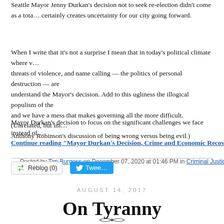Seattle Mayor Jenny Durkan's decision not to seek re-election didn't come as a total surprise, but it certainly creates uncertainty for our city going forward.
When I write that it's not a surprise I mean that in today's political climate where w... threats of violence, and name calling — the politics of personal destruction — are ... understand the Mayor's decision. Add to this ugliness the illogical populism of the... and we have a mess that makes governing all the more difficult. (Unrelated, but im... Anthony Robinson's discussion of being wrong versus being evil.)
Mayor Durkan's decision to focus on the significant challenges we face instead of...
Continue reading "Mayor Durkan's Decision, Crime and Economic Recove..."
Posted by Tim Burgess on December 07, 2020 at 01:46 PM in Criminal Justice and Jails, Current Affa...
Reblog (0)   Tweet
AUGUST 14, 2017
On Tyranny